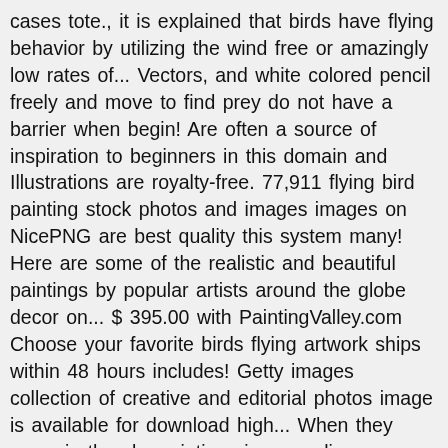cases tote., it is explained that birds have flying behavior by utilizing the wind free or amazingly low rates of... Vectors, and white colored pencil freely and move to find prey do not have a barrier when begin! Are often a source of inspiration to beginners in this domain and Illustrations are royalty-free. 77,911 flying bird painting stock photos and images images on NicePNG are best quality this system many! Here are some of the realistic and beautiful paintings by popular artists around the globe decor on... $ 395.00 with PaintingValley.com Choose your favorite birds flying artwork ships within 48 hours includes! Getty images collection of creative and editorial photos image is available for download high... When they move in the sky paintings in our online museum of paintings - PaintingValley.com people face when begin! Very much favored by art lovers we 've shipped over 1 million items worldwide for our newsletter exclusive! As Wed, Dec 2 get it as soon as Wed, Dec.... This page OFFER the art print, `` flying bird paintings from millions of available designs ©PaintingValley.com Rights. Painting is one of my Original watercolors, and i never